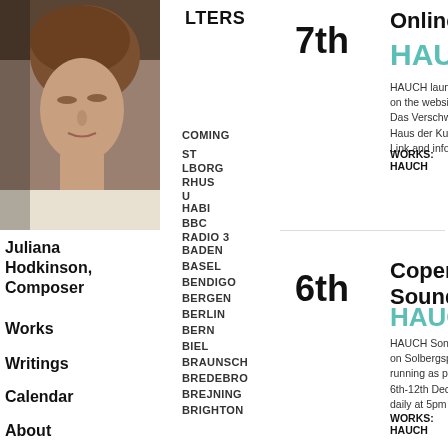LTERS
UPCOMING
ST
LBORG
RHUS
U
HABI
BBC RADIO 3
Juliana Hodkinson, Composer
BADEN
BASEL
Works
BENDIGO
BERGEN
Writings
BERLIN
BERN
Calendar
BIEL
BRAUNSCH
BREDEBRO
About
BREJNING
BRIGHTON
7th
Online : HKW
HAUCH
HAUCH launches in a film on the website of Das Verschwinden der M Haus der Kulturen der W Link and info to follow...
WORKS: HAUCH
6th
Copenhagen Sound Wells
HAUCH Soni
HAUCH Sonic Footprint on Solbergsplads, Frede running as public sound 6th-12th Dec 2020 daily at 5pm and 7pm
WORKS: HAUCH